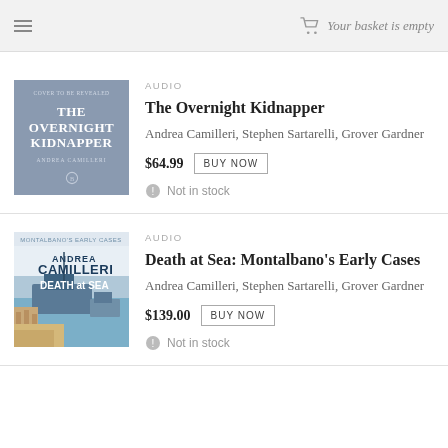Your basket is empty
AUDIO
The Overnight Kidnapper
Andrea Camilleri, Stephen Sartarelli, Grover Gardner
$64.99  BUY NOW
Not in stock
AUDIO
Death at Sea: Montalbano's Early Cases
Andrea Camilleri, Stephen Sartarelli, Grover Gardner
$139.00  BUY NOW
Not in stock